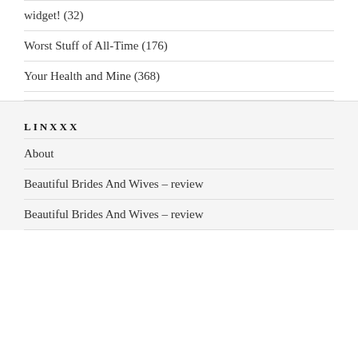widget! (32)
Worst Stuff of All-Time (176)
Your Health and Mine (368)
LINXXX
About
Beautiful Brides And Wives – review
Beautiful Brides And Wives – review